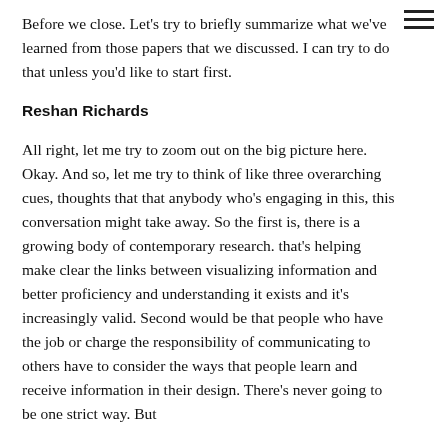Before we close. Let's try to briefly summarize what we've learned from those papers that we discussed. I can try to do that unless you'd like to start first.
Reshan Richards
All right, let me try to zoom out on the big picture here. Okay. And so, let me try to think of like three overarching cues, thoughts that that anybody who's engaging in this, this conversation might take away. So the first is, there is a growing body of contemporary research. that's helping make clear the links between visualizing information and better proficiency and understanding it exists and it's increasingly valid. Second would be that people who have the job or charge the responsibility of communicating to others have to consider the ways that people learn and receive information in their design. There's never going to be one strict way. But